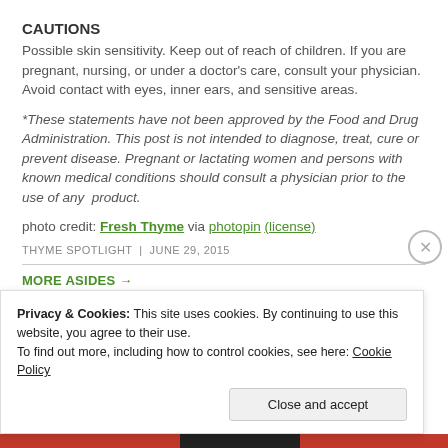CAUTIONS
Possible skin sensitivity. Keep out of reach of children. If you are pregnant, nursing, or under a doctor's care, consult your physician. Avoid contact with eyes, inner ears, and sensitive areas.
*These statements have not been approved by the Food and Drug Administration. This post is not intended to diagnose, treat, cure or prevent disease. Pregnant or lactating women and persons with known medical conditions should consult a physician prior to the use of any product.
photo credit: Fresh Thyme via photopin (license)
THYME SPOTLIGHT | JUNE 29, 2015
MORE ASIDES →
Privacy & Cookies: This site uses cookies. By continuing to use this website, you agree to their use. To find out more, including how to control cookies, see here: Cookie Policy
Close and accept